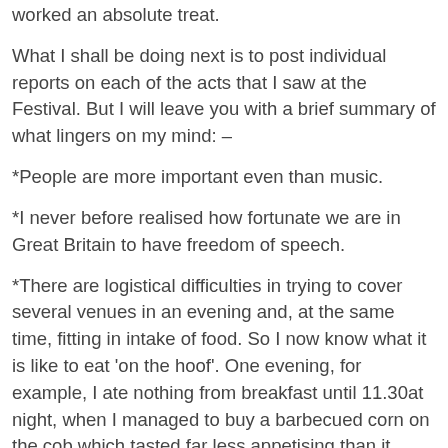worked an absolute treat.
What I shall be doing next is to post individual reports on each of the acts that I saw at the Festival. But I will leave you with a brief summary of what lingers on my mind: –
*People are more important even than music.
*I never before realised how fortunate we are in Great Britain to have freedom of speech.
*There are logistical difficulties in trying to cover several venues in an evening and, at the same time, fitting in intake of food. So I now know what it is like to eat 'on the hoof'. One evening, for example, I ate nothing from breakfast until 11.30at night, when I managed to buy a barbecued corn on the cob which tasted far less appetising than it looked. And another evening, and I can hardly believe this, I found myself, at 1:30 am, shoving crisps into my mouth as I took photographs of Hassan Boussou and Jazz-Racines Haiti right below them on the photographers' plinth.